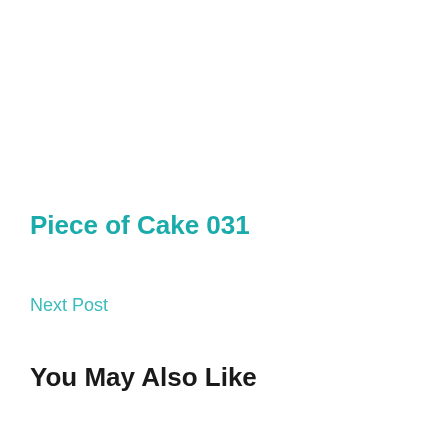Piece of Cake 031
Next Post
You May Also Like